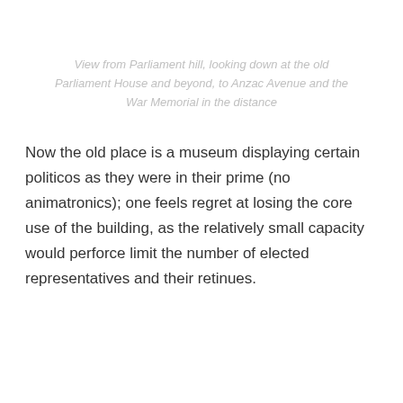View from Parliament hill, looking down at the old Parliament House and beyond, to Anzac Avenue and the War Memorial in the distance
Now the old place is a museum displaying certain politicos as they were in their prime (no animatronics); one feels regret at losing the core use of the building, as the relatively small capacity would perforce limit the number of elected representatives and their retinues.